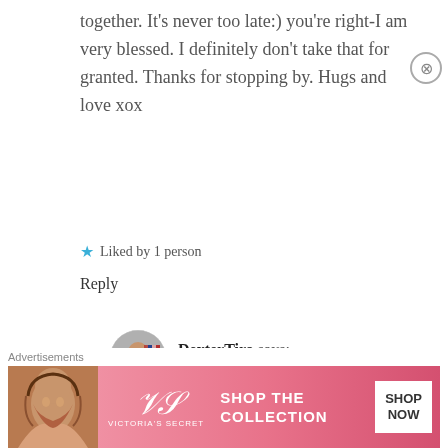together. It's never too late:) you're right-I am very blessed. I definitely don't take that for granted. Thanks for stopping by. Hugs and love xox
★ Liked by 1 person
Reply
DexterTiro says: June 16, 2016 at 9:58 pm
I agree with you when you said that
[Figure (photo): Avatar photo of commenter DexterTiro - man in suit with flags in background]
Advertisements
[Figure (illustration): Victoria's Secret advertisement banner with woman model, VS logo, Shop the Collection text, and Shop Now button]